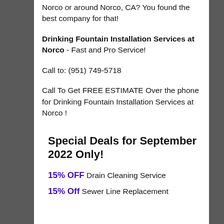Norco or around Norco, CA? You found the best company for that!
Drinking Fountain Installation Services at Norco - Fast and Pro Service!
Call to: (951) 749-5718
Call To Get FREE ESTIMATE Over the phone for Drinking Fountain Installation Services at Norco !
Special Deals for September 2022 Only!
15% OFF Drain Cleaning Service
15% Off Sewer Line Replacement